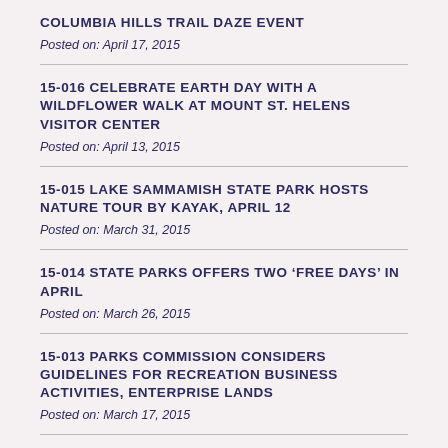COLUMBIA HILLS TRAIL DAZE EVENT
Posted on: April 17, 2015
15-016 CELEBRATE EARTH DAY WITH A WILDFLOWER WALK AT MOUNT ST. HELENS VISITOR CENTER
Posted on: April 13, 2015
15-015 LAKE SAMMAMISH STATE PARK HOSTS NATURE TOUR BY KAYAK, APRIL 12
Posted on: March 31, 2015
15-014 STATE PARKS OFFERS TWO ‘FREE DAYS’ IN APRIL
Posted on: March 26, 2015
15-013 PARKS COMMISSION CONSIDERS GUIDELINES FOR RECREATION BUSINESS ACTIVITIES, ENTERPRISE LANDS
Posted on: March 17, 2015
15-012 OLMSTEAD PLACE STATE PARK HOSTS